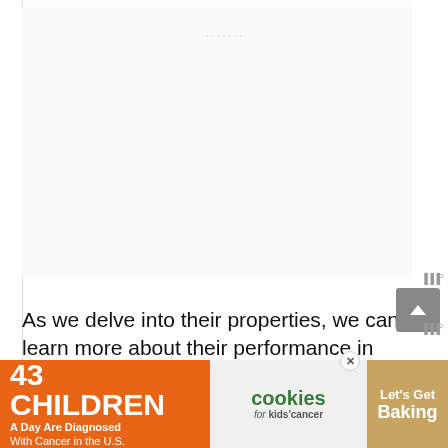As we delve into their properties, we can learn more about their performance in terms of quality, longevity, versatility, and other features. Take a look at the following comparative review:
[Figure (other): Advertisement banner: '43 CHILDREN A Day Are Diagnosed With Cancer in the U.S.' with cookies for kids' cancer branding and 'Let's Get Baking' call to action]